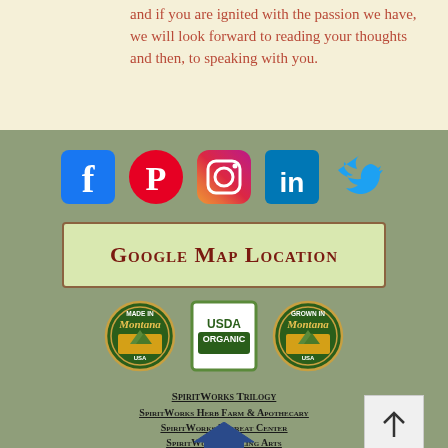and if you are ignited with the passion we have, we will look forward to reading your thoughts and then, to speaking with you.
[Figure (infographic): Social media icons: Facebook, Pinterest, Instagram, LinkedIn, Twitter]
Google Map Location
[Figure (logo): Made in Montana USA badge, USDA Organic badge, Grown in Montana USA badge]
SpiritWorks Trilogy
SpiritWorks Herb Farm & Apothecary
SpiritWorks Retreat Center
SpiritWorks Healing Arts
Whitefish, Montana
SpiritWorksApothecary@gmail.com
406 260.7098